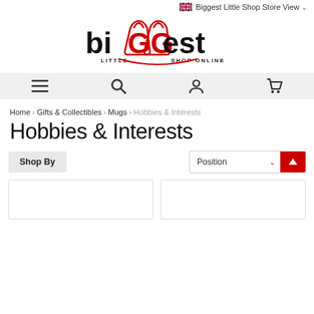Biggest Little Shop Store View
[Figure (logo): bigGGest LITTLE SHOP ONLINE logo with red shopping bags]
[Figure (screenshot): Navigation bar with menu, search, account, and cart icons]
Home > Gifts & Collectibles > Mugs > Hobbies & Interests
Hobbies & Interests
Shop By  Position
[Figure (screenshot): Two empty product card placeholders at the bottom of the page]